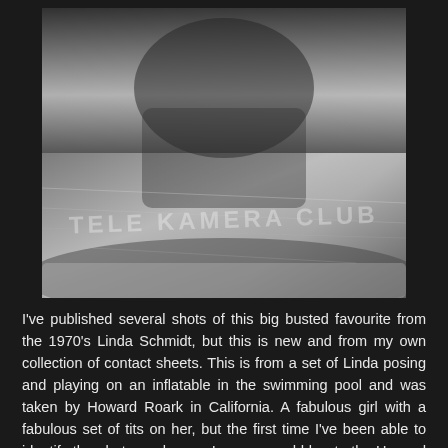[Figure (photo): Black and white photograph of a woman in a bikini posing on an inflatable in a swimming pool, with watermark text 'TELE KAMERA CLUB' overlaid]
I've published several shots of this big busted favourite from the 1970's Linda Schmidt, but this is new and from my own collection of contact sheets. This is from a set of Linda posing and playing on an inflatable in the swimming pool and was taken by Howard Roark in California. A fabulous girl with a fabulous set of tits on her, but the first time I've been able to identify the photographer, so I can now add her to the Howard Roark gallery. I also have a fabulous set of her in the shower, but more of that at a later date. 😊